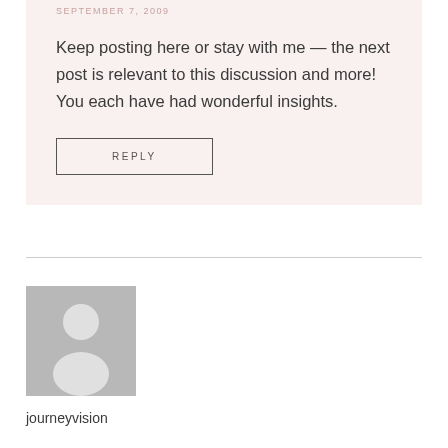SEPTEMBER 7, 2009
Keep posting here or stay with me — the next post is relevant to this discussion and more! You each have had wonderful insights.
REPLY
[Figure (illustration): Default avatar placeholder image — grey square with a white silhouette of a person (head circle and body shape)]
journeyvision